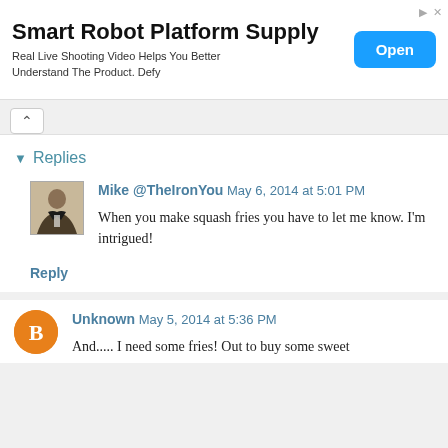[Figure (other): Advertisement banner for Smart Robot Platform Supply with 'Open' button]
Replies
Mike @TheIronYou May 6, 2014 at 5:01 PM
When you make squash fries you have to let me know. I'm intrigued!
Reply
Unknown May 5, 2014 at 5:36 PM
And..... I need some fries! Out to buy some sweet